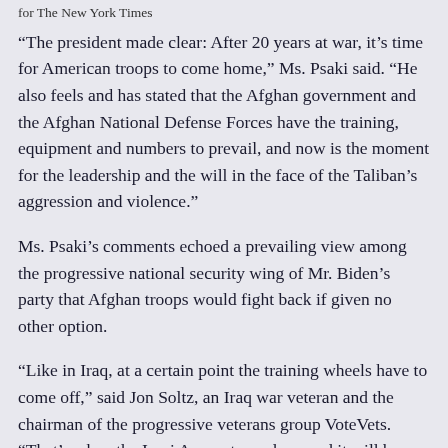for The New York Times
“The president made clear: After 20 years at war, it’s time for American troops to come home,” Ms. Psaki said. “He also feels and has stated that the Afghan government and the Afghan National Defense Forces have the training, equipment and numbers to prevail, and now is the moment for the leadership and the will in the face of the Taliban’s aggression and violence.”
Ms. Psaki’s comments echoed a prevailing view among the progressive national security wing of Mr. Biden’s party that Afghan troops would fight back if given no other option.
“Like in Iraq, at a certain point the training wheels have to come off,” said Jon Soltz, an Iraq war veteran and the chairman of the progressive veterans group VoteVets. “That’s when the Iraqi Army stepped up, and it will be when the Afghan Army does.”